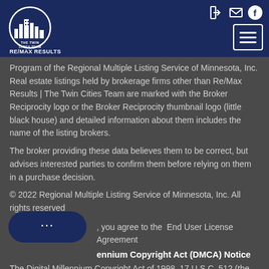[Figure (logo): The Twin Cities Team RE/MAX Results logo — circular logo with city skyline graphic, white on navy blue background, with RE/MAX RESULTS text below]
Program of the Regional Multiple Listing Service of Minnesota, Inc. Real estate listings held by brokerage firms other than Re/Max Results | The Twin Cities Team are marked with the Broker Reciprocity logo or the Broker Reciprocity thumbnail logo (little black house) and detailed information about them includes the name of the listing brokers.
The broker providing these data believes them to be correct, but advises interested parties to confirm them before relying on them in a purchase decision.
© 2022 Regional Multiple Listing Service of Minnesota, Inc. All rights reserved
, you agree to the  End User License Agreement
ennium Copyright Act (DMCA) Notice
The Digital Millennium Copyright Act of 1998, 17 U.S.C. 512 (the